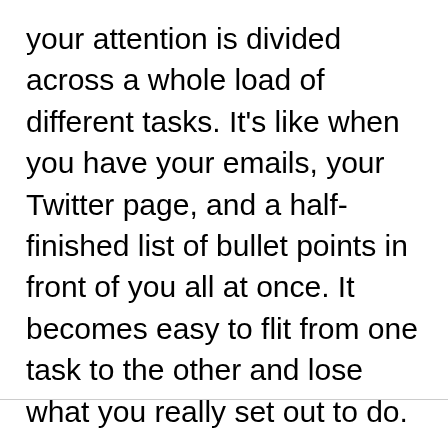your attention is divided across a whole load of different tasks. It's like when you have your emails, your Twitter page, and a half-finished list of bullet points in front of you all at once. It becomes easy to flit from one task to the other and lose what you really set out to do.